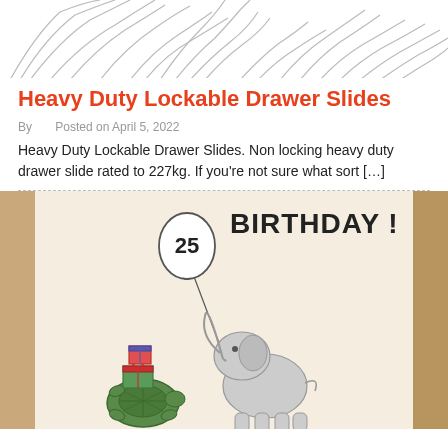[Figure (illustration): Top portion of a sketch illustration, showing flowing hair or feathers in pencil/line art style, cropped at top of page.]
Heavy Duty Lockable Drawer Slides
By    Posted on April 5, 2022
Heavy Duty Lockable Drawer Slides. Non locking heavy duty drawer slide rated to 227kg. If you're not sure what sort […]
[Figure (photo): Photograph of a birthday card featuring an illustrated elephant holding a '25' balloon with its trunk, next to a turtle carrying gift boxes. Text reads 'BIRTHDAY !' on the card.]